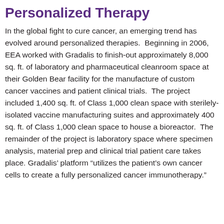Personalized Therapy
In the global fight to cure cancer, an emerging trend has evolved around personalized therapies. Beginning in 2006, EEA worked with Gradalis to finish-out approximately 8,000 sq. ft. of laboratory and pharmaceutical cleanroom space at their Golden Bear facility for the manufacture of custom cancer vaccines and patient clinical trials. The project included 1,400 sq. ft. of Class 1,000 clean space with sterilely-isolated vaccine manufacturing suites and approximately 400 sq. ft. of Class 1,000 clean space to house a bioreactor. The remainder of the project is laboratory space where specimen analysis, material prep and clinical trial patient care takes place. Gradalis' platform “utilizes the patient’s own cancer cells to create a fully personalized cancer immunotherapy.”